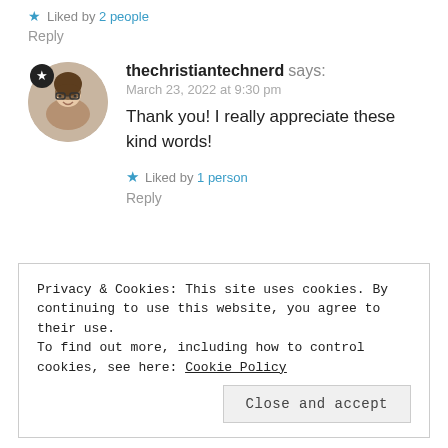★ Liked by 2 people
Reply
[Figure (photo): Circular avatar photo of a young woman with glasses, with a star badge icon in the top left]
thechristiantechnerd says:
March 23, 2022 at 9:30 pm
Thank you! I really appreciate these kind words!
★ Liked by 1 person
Reply
Privacy & Cookies: This site uses cookies. By continuing to use this website, you agree to their use.
To find out more, including how to control cookies, see here: Cookie Policy
Close and accept